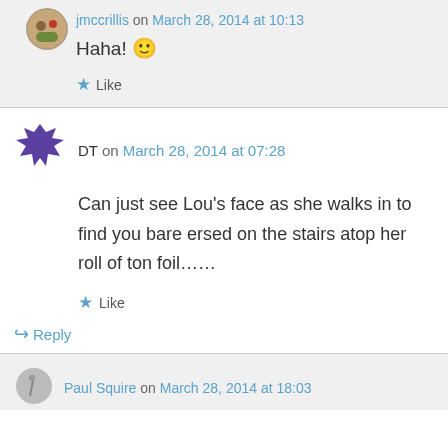jmccrillis on March 28, 2014 at 10:13
Haha! 🙂
Like
DT on March 28, 2014 at 07:28
Can just see Lou's face as she walks in to find you bare ersed on the stairs atop her roll of ton foil……
Like
Reply
Paul Squire on March 28, 2014 at 18:03